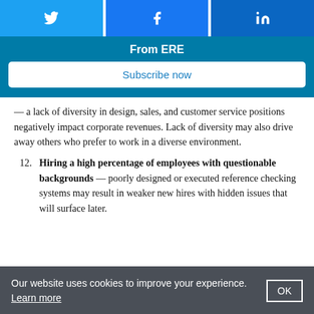[Figure (other): Social media share buttons: Twitter, Facebook, LinkedIn]
From ERE
Subscribe now
— a lack of diversity in design, sales, and customer service positions negatively impact corporate revenues. Lack of diversity may also drive away others who prefer to work in a diverse environment.
12. Hiring a high percentage of employees with questionable backgrounds — poorly designed or executed reference checking systems may result in weaker new hires with hidden issues that will surface later.
Our website uses cookies to improve your experience. Learn more